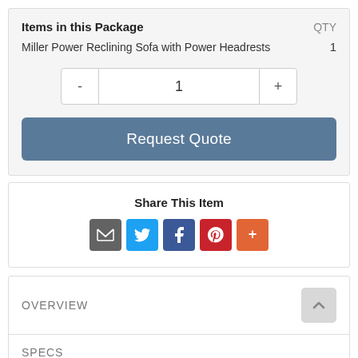| Items in this Package | QTY |
| --- | --- |
| Miller Power Reclining Sofa with Power Headrests | 1 |
1
Request Quote
Share This Item
[Figure (infographic): Social share icons: Email, Twitter, Facebook, Pinterest, More (+)]
OVERVIEW
SPECS